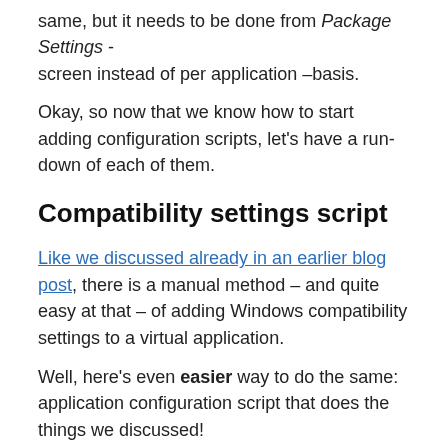same, but it needs to be done from Package Settings - screen instead of per application –basis.
Okay, so now that we know how to start adding configuration scripts, let's have a run-down of each of them.
Compatibility settings script
Like we discussed already in an earlier blog post, there is a manual method – and quite easy at that – of adding Windows compatibility settings to a virtual application.
Well, here's even easier way to do the same: application configuration script that does the things we discussed!
You just select Compatibility settings from the list, and in